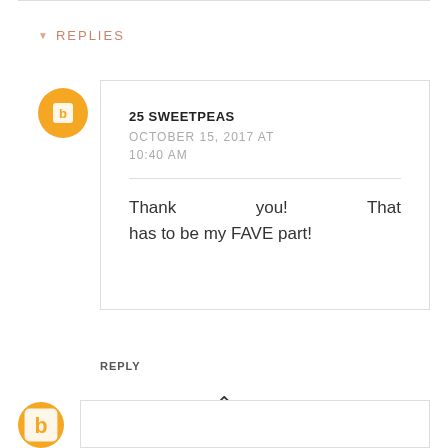REPLIES
25 SWEETPEAS
OCTOBER 15, 2017 AT 10:40 AM
Thank you! That has to be my FAVE part!
REPLY